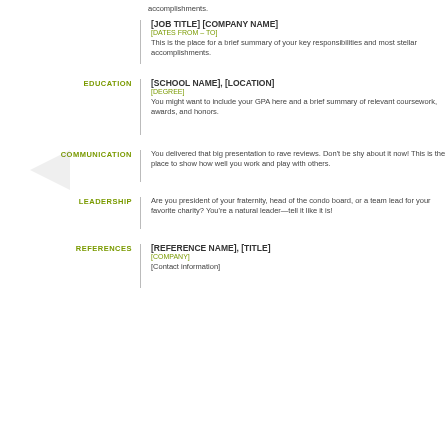accomplishments.
[JOB TITLE] [COMPANY NAME]
[DATES FROM – TO]
This is the place for a brief summary of your key responsibilities and most stellar accomplishments.
EDUCATION
[SCHOOL NAME], [LOCATION]
[DEGREE]
You might want to include your GPA here and a brief summary of relevant coursework, awards, and honors.
COMMUNICATION
You delivered that big presentation to rave reviews. Don't be shy about it now! This is the place to show how well you work and play with others.
LEADERSHIP
Are you president of your fraternity, head of the condo board, or a team lead for your favorite charity? You're a natural leader—tell it like it is!
REFERENCES
[REFERENCE NAME], [TITLE]
[COMPANY]
[Contact information]